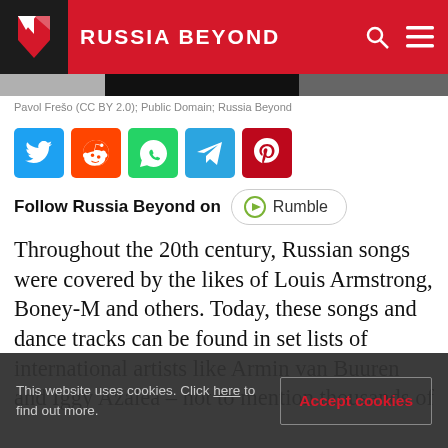RUSSIA BEYOND
[Figure (photo): Partial image strip showing fragments of three photos]
Pavol Frešo (CC BY 2.0); Public Domain; Russia Beyond
[Figure (infographic): Social media share buttons: Twitter, Reddit, WhatsApp, Telegram, Pinterest]
Follow Russia Beyond on  Rumble
Throughout the 20th century, Russian songs were covered by the likes of Louis Armstrong, Boney-M and others. Today, these songs and dance tracks can be found in set lists of international artists like Armin van Buuren and Iggy Azalea – not to mention thousands of
This website uses cookies. Click here to find out more.   Accept cookies